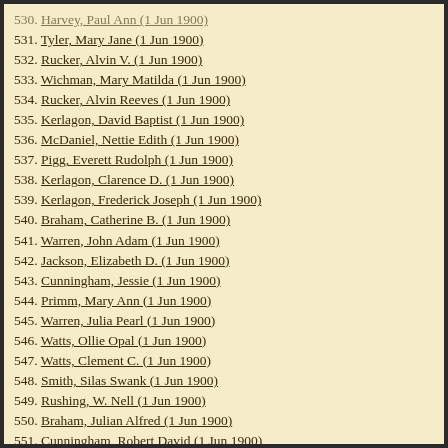531. Tyler, Mary Jane (1 Jun 1900)
532. Rucker, Alvin V. (1 Jun 1900)
533. Wichman, Mary Matilda (1 Jun 1900)
534. Rucker, Alvin Reeves (1 Jun 1900)
535. Kerlagon, David Baptist (1 Jun 1900)
536. McDaniel, Nettie Edith (1 Jun 1900)
537. Pigg, Everett Rudolph (1 Jun 1900)
538. Kerlagon, Clarence D. (1 Jun 1900)
539. Kerlagon, Frederick Joseph (1 Jun 1900)
540. Braham, Catherine B. (1 Jun 1900)
541. Warren, John Adam (1 Jun 1900)
542. Jackson, Elizabeth D. (1 Jun 1900)
543. Cunningham, Jessie (1 Jun 1900)
544. Primm, Mary Ann (1 Jun 1900)
545. Warren, Julia Pearl (1 Jun 1900)
546. Watts, Ollie Opal (1 Jun 1900)
547. Watts, Clement C. (1 Jun 1900)
548. Smith, Silas Swank (1 Jun 1900)
549. Rushing, W. Nell (1 Jun 1900)
550. Braham, Julian Alfred (1 Jun 1900)
551. Cunningham, Robert David (1 Jun 1900)
552. Watts, Anna Alma (1 Jun 1900)
553. Pigg, Edna B. (1 Jun 1900)
554. Braham, James W. (1 Jun 1900)
555. Yeager, Alice Catherine (1 Jun 1900)